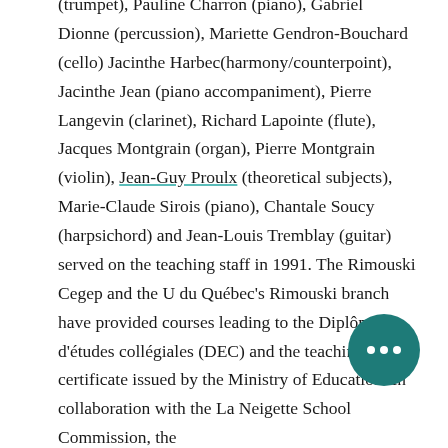(trumpet), Pauline Charron (piano), Gabriel Dionne (percussion), Mariette Gendron-Bouchard (cello) Jacinthe Harbec(harmony/counterpoint), Jacinthe Jean (piano accompaniment), Pierre Langevin (clarinet), Richard Lapointe (flute), Jacques Montgrain (organ), Pierre Montgrain (violin), Jean-Guy Proulx (theoretical subjects), Marie-Claude Sirois (piano), Chantale Soucy (harpsichord) and Jean-Louis Tremblay (guitar) served on the teaching staff in 1991. The Rimouski Cegep and the U du Québec's Rimouski branch have provided courses leading to the Diplôme d'études collégiales (DEC) and the teaching certificate issued by the Ministry of Education. In collaboration with the La Neigette School Commission, the
[Figure (other): Teal circular chat button with three white dots (ellipsis) indicating a messaging interface]